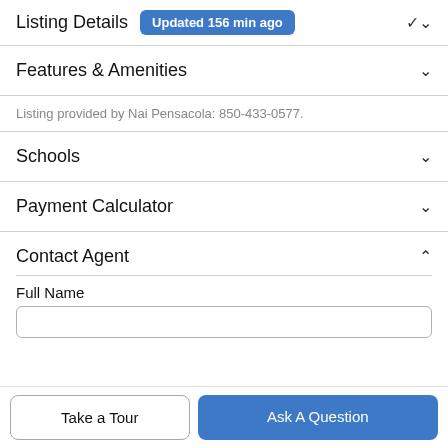Listing Details Updated 156 min ago
Features & Amenities
Listing provided by Nai Pensacola: 850-433-0577.
Schools
Payment Calculator
Contact Agent
Full Name
Take a Tour
Ask A Question